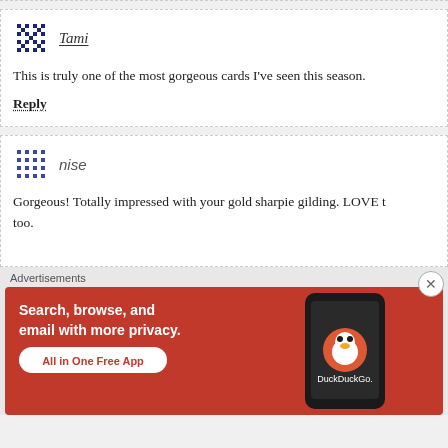Tami
This is truly one of the most gorgeous cards I've seen this season.
Reply
nise
Gorgeous! Totally impressed with your gold sharpie gilding. LOVE the too.
Advertisements
[Figure (screenshot): DuckDuckGo advertisement banner with orange/red background showing 'Search, browse, and email with more privacy. All in One Free App' with a phone image and DuckDuckGo logo.]